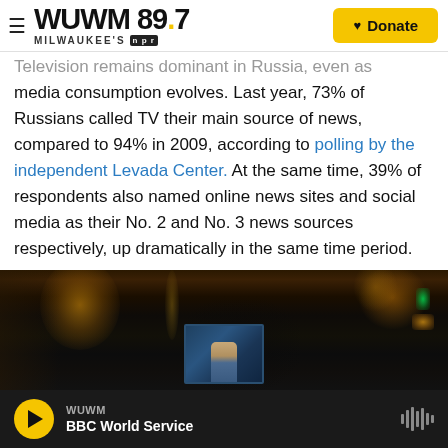WUWM 89.7 MILWAUKEE'S NPR — Donate
Television remains dominant in Russia, even as media consumption evolves. Last year, 73% of Russians called TV their main source of news, compared to 94% in 2009, according to polling by the independent Levada Center. At the same time, 39% of respondents also named online news sites and social media as their No. 2 and No. 3 news sources respectively, up dramatically in the same time period.
[Figure (photo): Dark interior photo showing a TV screen with a figure (Putin) visible, with bokeh lighting effects including orange/gold light streaks and green/orange lights on the right side of frame.]
WUWM — BBC World Service (audio player bar with play button and waveform icon)